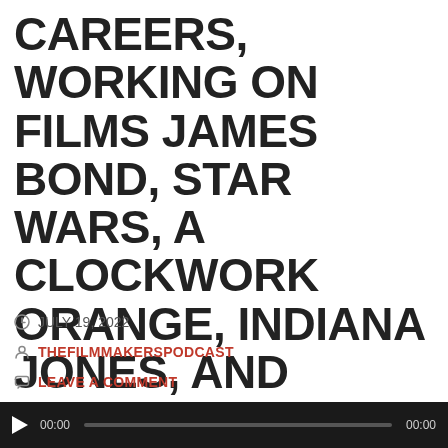CAREERS, WORKING ON FILMS JAMES BOND, STAR WARS, A CLOCKWORK ORANGE, INDIANA JONES, AND PRIZEFIGHTER WITH MATT HOOKINGS.
JULY 19, 2022
THEFILMMAKERSPODCAST
LEAVE A COMMENT